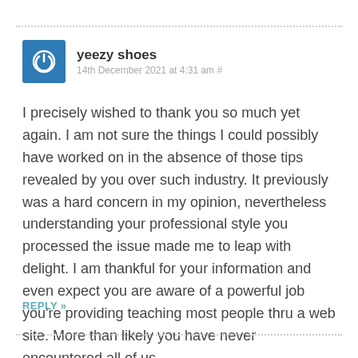yeezy shoes
14th December 2021 at 4:31 am #
I precisely wished to thank you so much yet again. I am not sure the things I could possibly have worked on in the absence of those tips revealed by you over such industry. It previously was a hard concern in my opinion, nevertheless understanding your professional style you processed the issue made me to leap with delight. I am thankful for your information and even expect you are aware of a powerful job you’re providing teaching most people thru a web site. More than likely you have never encountered all of us.
REPLY »